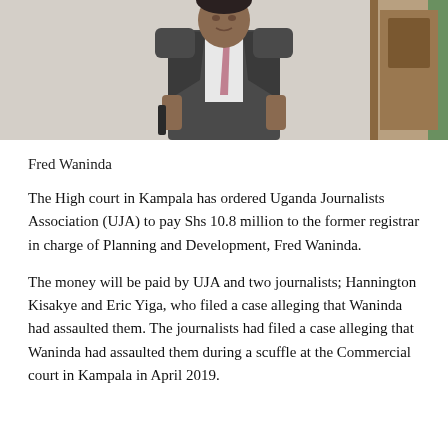[Figure (photo): Photograph of a man in a dark grey suit and patterned tie, standing in what appears to be a courtroom or formal setting]
Fred Waninda
The High court in Kampala has ordered Uganda Journalists Association (UJA) to pay Shs 10.8 million to the former registrar in charge of Planning and Development, Fred Waninda.
The money will be paid by UJA and two journalists; Hannington Kisakye and Eric Yiga, who filed a case alleging that Waninda had assaulted them. The journalists had filed a case alleging that Waninda had assaulted them during a scuffle at the Commercial court in Kampala in April 2019.